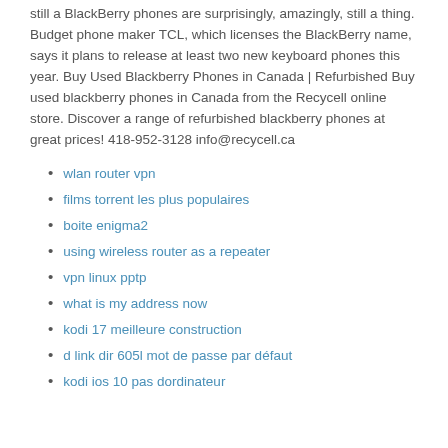still a BlackBerry phones are surprisingly, amazingly, still a thing. Budget phone maker TCL, which licenses the BlackBerry name, says it plans to release at least two new keyboard phones this year. Buy Used Blackberry Phones in Canada | Refurbished Buy used blackberry phones in Canada from the Recycell online store. Discover a range of refurbished blackberry phones at great prices! 418-952-3128 info@recycell.ca
wlan router vpn
films torrent les plus populaires
boite enigma2
using wireless router as a repeater
vpn linux pptp
what is my address now
kodi 17 meilleure construction
d link dir 605l mot de passe par défaut
kodi ios 10 pas dordinateur